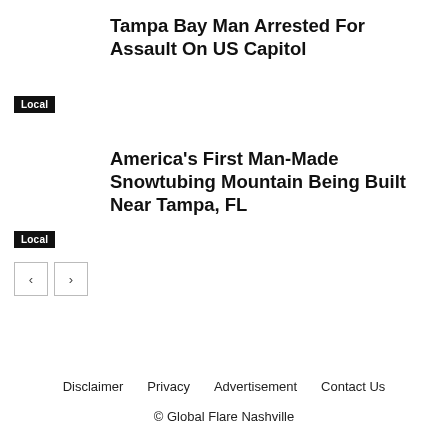Tampa Bay Man Arrested For Assault On US Capitol
Local
America's First Man-Made Snowtubing Mountain Being Built Near Tampa, FL
Local
Disclaimer   Privacy   Advertisement   Contact Us
© Global Flare Nashville